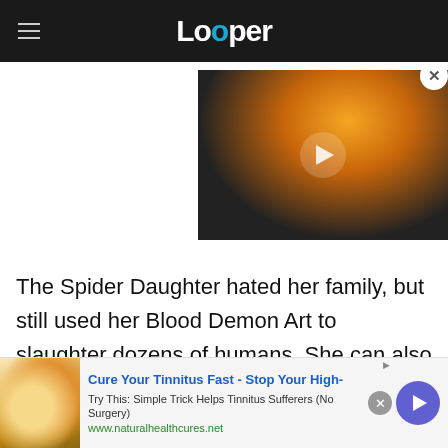Looper
[Figure (screenshot): Video thumbnail of Ghost Rider with flaming skull, play button overlay]
The Spider Daughter hated her family, but still used her Blood Demon Art to slaughter dozens of humans. She can also produce and manipulate webs, using these soft yet durable threads to create
[Figure (screenshot): Advertisement banner: Cure Your Tinnitus Fast - Stop Your High- | Try This: Simple Trick Helps Tinnitus Sufferers (No Surgery) | www.naturalhealthcures.net]